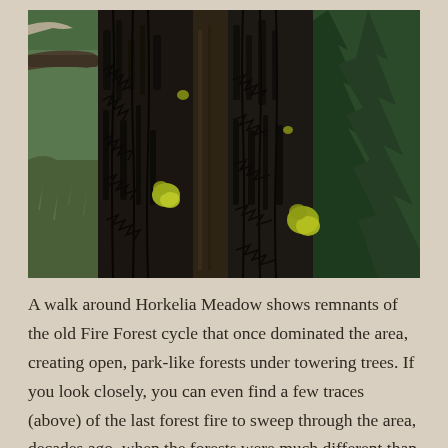[Figure (photo): A close-up photograph of large, ancient weathered tree trunks or stumps in a forest setting. The bark is heavily textured, dark, and deeply furrowed, with patches of yellow-green lichen. Green conifer branches and fallen logs are visible in the background, with sunlight filtering through.]
A walk around Horkelia Meadow shows remnants of the old Fire Forest cycle that once dominated the area, creating open, park-like forests under towering trees. If you look closely, you can even find a few traces (above) of the last forest fire to sweep through the area, decades ago, when the forests were much different than today.